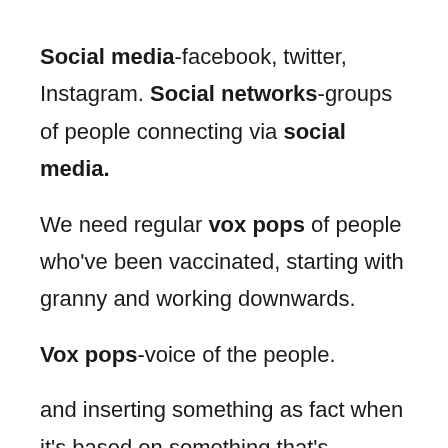Social media-facebook, twitter, Instagram. Social networks-groups of people connecting via social media.
We need regular vox pops of people who've been vaccinated, starting with granny and working downwards.
Vox pops-voice of the people.
and inserting something as fact when it's based on something that's happened but delivered out of